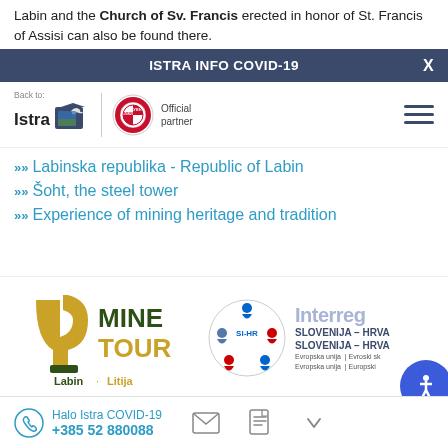Labin and the Church of Sv. Francis erected in honor of St. Francis of Assisi can also be found there.
ISTRA INFO COVID-19
[Figure (logo): Navigation bar with Back to Istra logo, FC Bayern München official partner logo, and hamburger menu icon]
Labinska republika - Republic of Labin
Šoht, the steel tower
Experience of mining heritage and tradition
[Figure (logo): MineTour Labin Litija logo with SI-HR Interreg Slovenija-Hrva branding and EU funding logos]
Halo Istra COVID-19 +385 52 880088